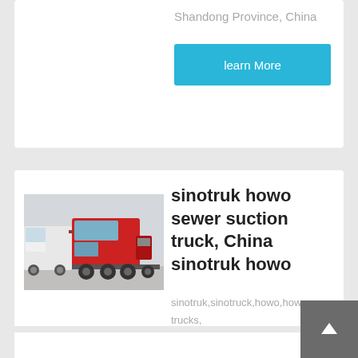Shandong Province, China
learn More
[Figure (photo): Red Sinotruk HOWO truck cab with white trucks in background, parked in a lot]
sinotruk howo sewer suction truck, China sinotruk howo
sinotruk,sinotruck,howo,howo trucks, howo dump truck, howo
learn More